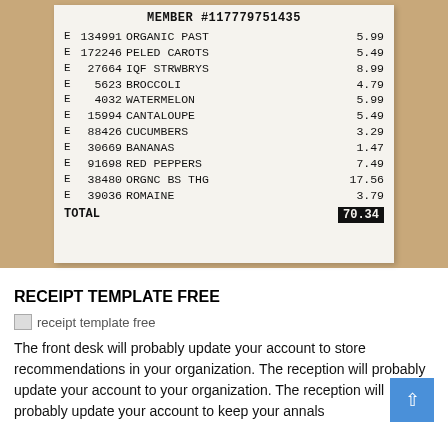[Figure (photo): A photo of a grocery store receipt on a wooden table showing member number #117779751435 and items with prices. Items: 134991 ORGANIC PAST 5.99, 172246 PELED CAROTS 5.49, 27664 IQF STRWBRYS 8.99, 5623 BROCCOLI 4.79, 4032 WATERMELON 5.99, 15994 CANTALOUPE 5.49, 88426 CUCUMBERS 3.29, 30669 BANANAS 1.47, 91698 RED PEPPERS 7.49, 38480 ORGNC BS THG 17.56, 39036 ROMAINE 3.79. TOTAL 70.34]
RECEIPT TEMPLATE FREE
[Figure (other): receipt template free image placeholder]
The front desk will probably update your account to store recommendations in your organization. The reception will probably update your account to your organization. The reception will probably update your account to keep your annals